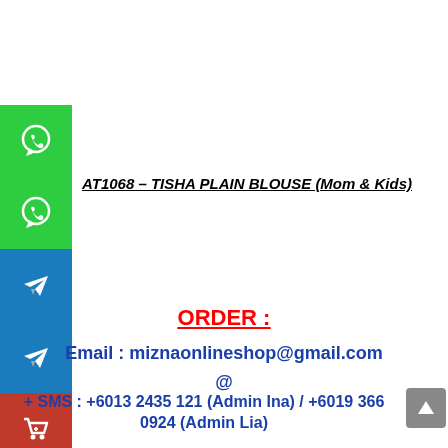[Figure (infographic): Sidebar with social media buttons: two green WhatsApp buttons, two blue Telegram buttons, one red shopping cart button]
AT1068 – TISHA PLAIN BLOUSE (Mom & Kids)
ORDER :
Email : miznaonlineshop@gmail.com
@
+ SMS : +6013 2435 121 (Admin Ina) / +6019 366 0924 (Admin Lia)